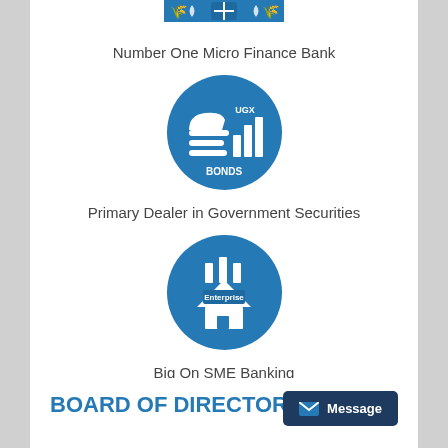[Figure (logo): Top icon with wheat/leaf motif on blue background, partially visible at top]
Number One Micro Finance Bank
[Figure (illustration): Blue circle icon showing a hand holding money with UGX and BONDS text]
Primary Dealer in Government Securities
[Figure (illustration): Blue circle icon showing a house/enterprise building labeled Enterprise]
Big On SME Banking
BOARD OF DIRECTORS